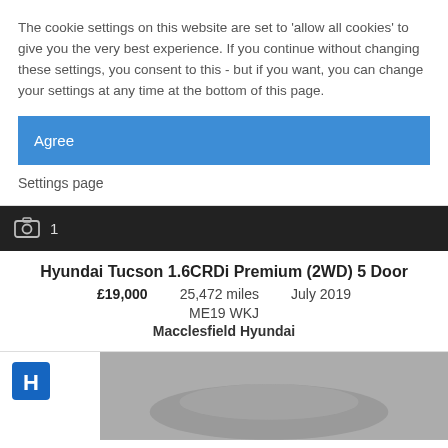The cookie settings on this website are set to 'allow all cookies' to give you the very best experience. If you continue without changing these settings, you consent to this - but if you want, you can change your settings at any time at the bottom of this page.
Agree
Settings page
1
Hyundai Tucson 1.6CRDi Premium (2WD) 5 Door
£19,000   25,472 miles   July 2019
ME19 WKJ
Macclesfield Hyundai
[Figure (photo): Bottom portion of a car listing page showing a dealer logo and a partial photo of a Hyundai car]